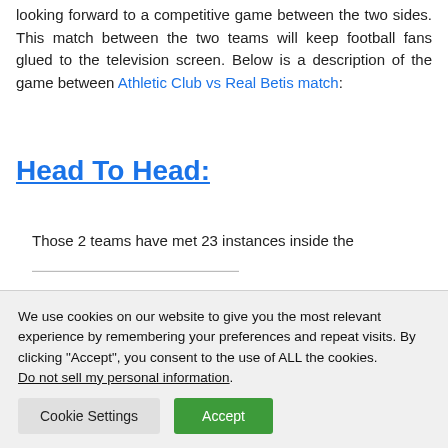looking forward to a competitive game between the two sides. This match between the two teams will keep football fans glued to the television screen. Below is a description of the game between Athletic Club vs Real Betis match:
Head To Head:
Those 2 teams have met 23 instances inside the ...
We use cookies on our website to give you the most relevant experience by remembering your preferences and repeat visits. By clicking "Accept", you consent to the use of ALL the cookies. Do not sell my personal information.